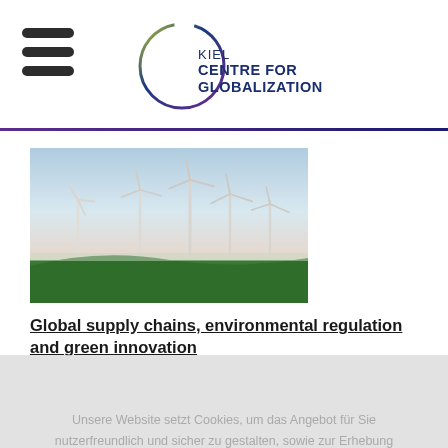[Figure (logo): Kiel Centre for Globalization logo with circular arc in gradient colors (yellow, blue, purple) and text 'KIEL CENTRE FOR GLOBALIZATION' in dark navy bold]
[Figure (photo): Wind turbines on a green hillside under a pale blue and pink sky]
Global supply chains, environmental regulation and green innovation
Unsere Website setzt Cookies, um das Angebot für Sie nutzerfreundlich und sicher zu gestalten, sowie zur Erhebung anonymisierter Statistiken. Ausführliche Informationen finden Sie in der Erklärung zum Datenschutz.